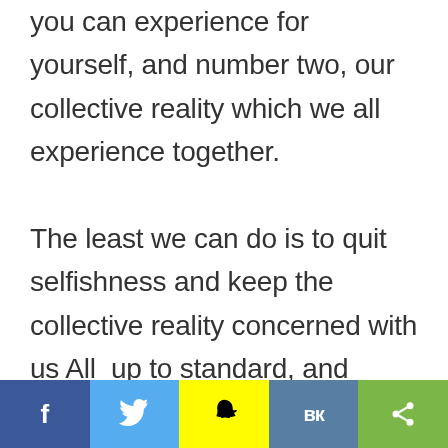you can experience for yourself, and number two, our collective reality which we all experience together.

The least we can do is to quit selfishness and keep the collective reality concerned with us All  up to standard, and place ourselves after the whole – for without which we seize to exist.
Social share bar: Facebook, Twitter, Snapchat, VK, Share